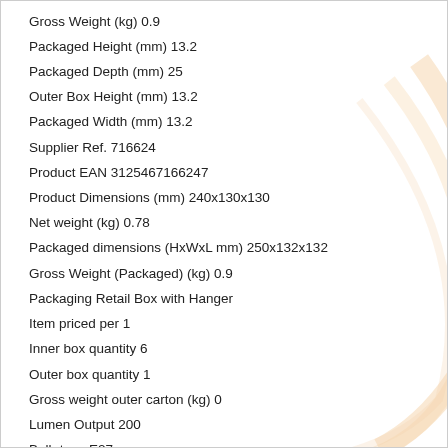Gross Weight (kg) 0.9
Packaged Height (mm) 13.2
Packaged Depth (mm) 25
Outer Box Height (mm) 13.2
Packaged Width (mm) 13.2
Supplier Ref. 716624
Product EAN 3125467166247
Product Dimensions (mm) 240x130x130
Net weight (kg) 0.78
Packaged dimensions (HxWxL mm) 250x132x132
Gross Weight (Packaged) (kg) 0.9
Packaging Retail Box with Hanger
Item priced per 1
Inner box quantity 6
Outer box quantity 1
Gross weight outer carton (kg) 0
Lumen Output 200
Bulb type E27